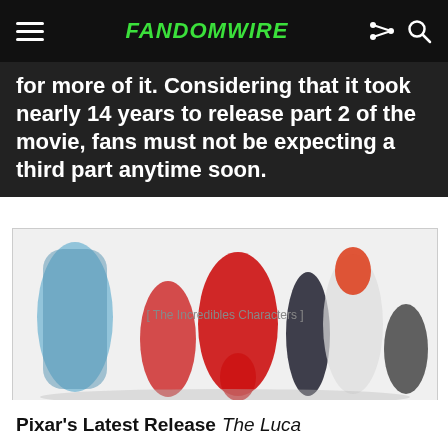FANDOMWIRE
for more of it. Considering that it took nearly 14 years to release part 2 of the movie, fans must not be expecting a third part anytime soon.
[Figure (photo): Group promotional image of characters from The Incredibles Pixar movie: Frozone, Elastigirl, Mr. Incredible, Jack-Jack, Violet, Syndrome, and Edna Mode posed together.]
Pixar's Latest Release The Luca